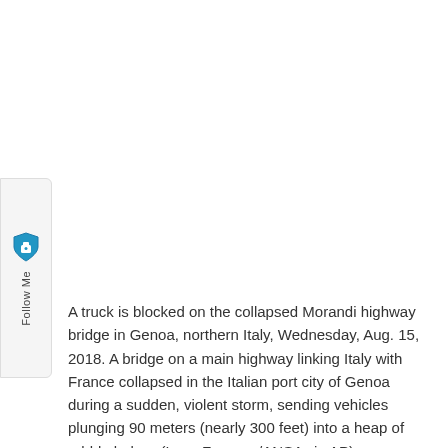[Figure (other): Follow Me social widget with shield/lock icon on left side of page]
A truck is blocked on the collapsed Morandi highway bridge in Genoa, northern Italy, Wednesday, Aug. 15, 2018. A bridge on a main highway linking Italy with France collapsed in the Italian port city of Genoa during a sudden, violent storm, sending vehicles plunging 90 meters (nearly 300 feet) into a heap of rubble below. (Luca Zennaro/ANSA via AP)